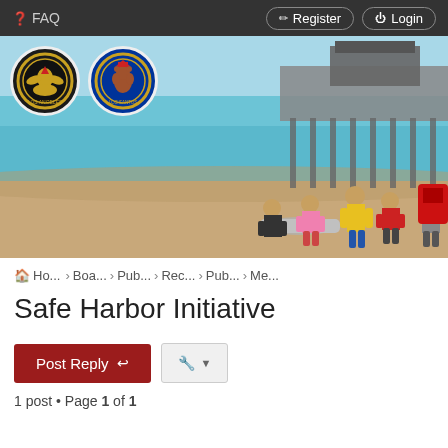FAQ   Register   Login
[Figure (photo): Beach scene with a pier in the background, people gathered on the sand appearing to assist someone, one person in a yellow safety vest standing, ocean visible with turquoise water, two official seals/logos overlaid on the left side]
Ho... › Boa... › Pub... › Rec... › Pub... › Me...
Safe Harbor Initiative
Post Reply  [tools dropdown]
1 post • Page 1 of 1